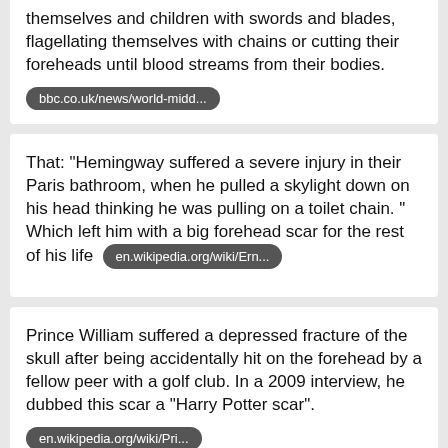themselves and children with swords and blades, flagellating themselves with chains or cutting their foreheads until blood streams from their bodies. bbc.co.uk/news/world-midd...
That: "Hemingway suffered a severe injury in their Paris bathroom, when he pulled a skylight down on his head thinking he was pulling on a toilet chain. " Which left him with a big forehead scar for the rest of his life en.wikipedia.org/wiki/Ern...
Prince William suffered a depressed fracture of the skull after being accidentally hit on the forehead by a fellow peer with a golf club. In a 2009 interview, he dubbed this scar a "Harry Potter scar". en.wikipedia.org/wiki/Pri...